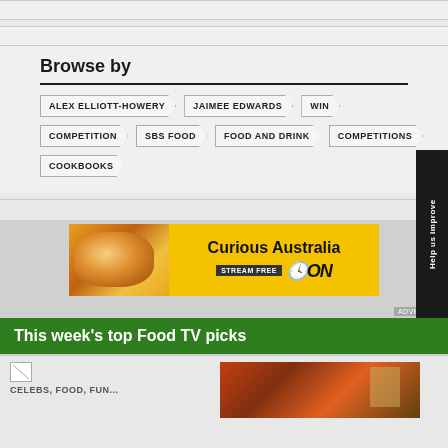Browse by
ALEX ELLIOTT-HOWERY
JAIMEE EDWARDS
WIN
COMPETITION
SBS FOOD
FOOD AND DRINK
COMPETITIONS
COOKBOOKS
[Figure (screenshot): Advertisement banner for Curious Australia on SBS On Demand — yellow background with food image on left, text 'Curious Australia STREAM FREE' with SBS On Demand logo on right]
This week's top Food TV picks
CELEBS, FOOD, FUN